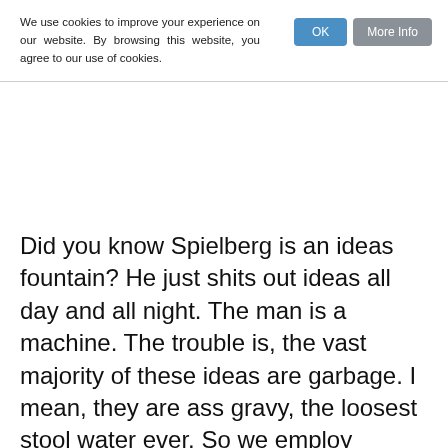We use cookies to improve your experience on our website. By browsing this website, you agree to our use of cookies.
Did you know Spielberg is an ideas fountain? He just shits out ideas all day and all night. The man is a machine. The trouble is, the vast majority of these ideas are garbage. I mean, they are ass gravy, the loosest stool water ever. So we employ someone to write them down, tell the him how great they are and throw them all in a big friggin container.